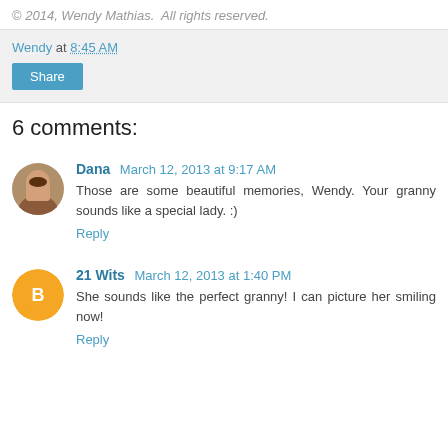© 2014, Wendy Mathias.  All rights reserved.
Wendy at 8:45 AM
Share
6 comments:
Dana  March 12, 2013 at 9:17 AM
Those are some beautiful memories, Wendy. Your granny sounds like a special lady. :)
Reply
21 Wits  March 12, 2013 at 1:40 PM
She sounds like the perfect granny! I can picture her smiling now!
Reply